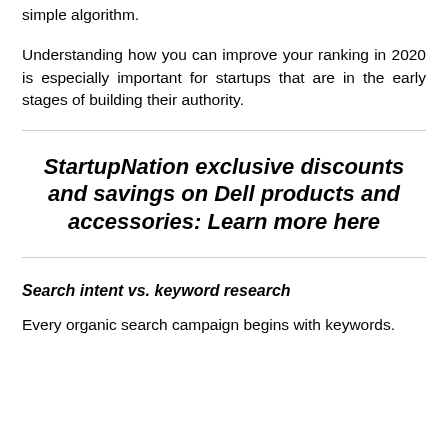simple algorithm.
Understanding how you can improve your ranking in 2020 is especially important for startups that are in the early stages of building their authority.
StartupNation exclusive discounts and savings on Dell products and accessories: Learn more here
Search intent vs. keyword research
Every organic search campaign begins with keywords.